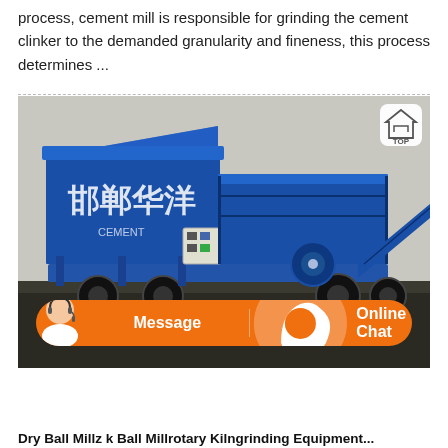process, cement mill is responsible for grinding the cement clinker to the demanded granularity and fineness, this process determines ...
[Figure (photo): A large blue mobile industrial grinding/crushing machine (ball mill or mobile cement mill equipment) with Chinese characters on the hopper, parked outdoors on dark ground. Equipment is painted blue and mounted on a wheeled trailer with support legs and a conveyor belt ramp. A control panel box is mounted on the side.]
Dry Ball Millz k Ball Millrotary Kilngrinding Equipment...